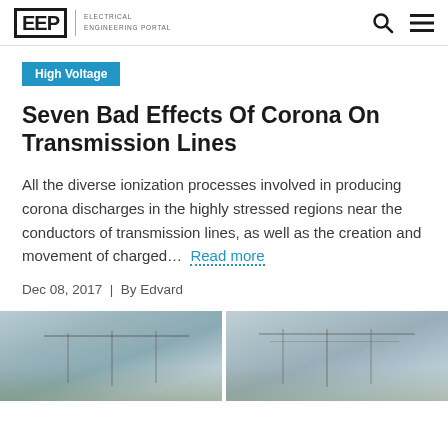EEP | ELECTRICAL ENGINEERING PORTAL
High Voltage
Seven Bad Effects Of Corona On Transmission Lines
All the diverse ionization processes involved in producing corona discharges in the highly stressed regions near the conductors of transmission lines, as well as the creation and movement of charged... Read more
Dec 08, 2017  |  By Edvard
[Figure (photo): Two side-by-side images of electrical transmission line infrastructure]